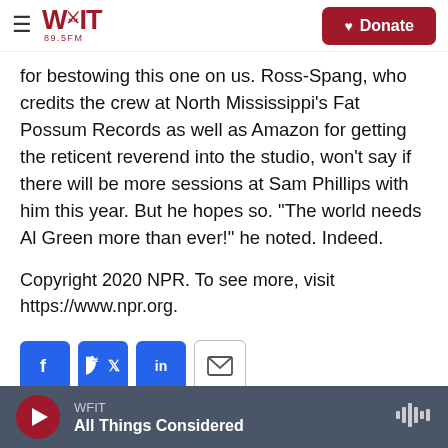WFIT 89.5FM — Donate
for bestowing this one on us. Ross-Spang, who credits the crew at North Mississippi's Fat Possum Records as well as Amazon for getting the reticent reverend into the studio, won't say if there will be more sessions at Sam Phillips with him this year. But he hopes so. "The world needs Al Green more than ever!" he noted. Indeed.
Copyright 2020 NPR. To see more, visit https://www.npr.org.
[Figure (infographic): Social sharing buttons: Facebook, Twitter, LinkedIn, Email]
WFIT — All Things Considered